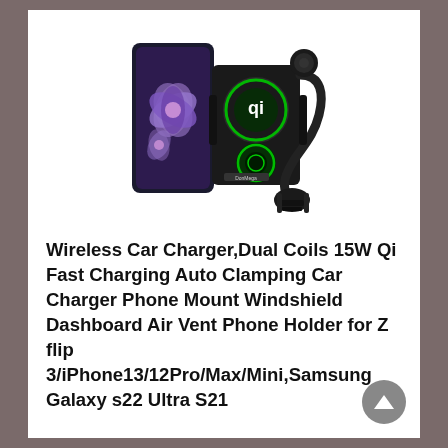[Figure (photo): Product photo of a wireless car charger with dual coils, black color, featuring a flexible gooseneck arm with suction cup mount and air vent mount, a phone (Samsung Galaxy Z Flip) placed in the charging cradle showing a purple flower wallpaper, with green LED charging indicators visible.]
Wireless Car Charger,Dual Coils 15W Qi Fast Charging Auto Clamping Car Charger Phone Mount Windshield Dashboard Air Vent Phone Holder for Z flip 3/iPhone13/12Pro/Max/Mini,Samsung Galaxy s22 Ultra S21